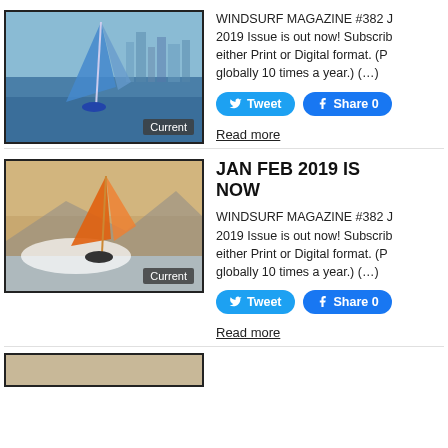[Figure (photo): Windsurfer on water with city skyline in background, blue sail, 'Current' label overlay]
WINDSURF MAGAZINE #382 Jan Feb 2019 Issue is out now! Subscribe either Print or Digital format. (P... globally 10 times a year.) (…)
Tweet
Share 0
Read more
JAN FEB 2019 IS... NOW
[Figure (photo): Windsurfer performing maneuver on wave with spray, orange sail, 'Current' label overlay]
WINDSURF MAGAZINE #382 Jan Feb 2019 Issue is out now! Subscribe either Print or Digital format. (P... globally 10 times a year.) (…)
Tweet
Share 0
Read more
[Figure (photo): Partial view of third article image at bottom]